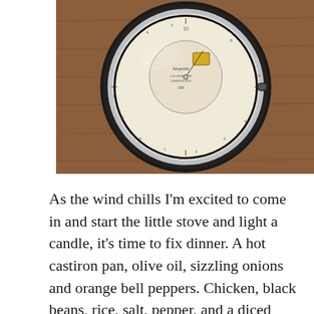[Figure (photo): A vintage barometer or navigational instrument with a large circular dial face, black bezel, and chrome rim, sitting on a wooden surface. The dial face shows measurement scales and has a brand label visible in the center.]
As the wind chills I'm excited to come in and start the little stove and light a candle, it's time to fix dinner. A hot castiron pan, olive oil, sizzling onions and orange bell peppers. Chicken, black beans, rice, salt, pepper, and a diced jalapeno. I taste it already with my eyes, wrapped up in a warm tortilla. I wish I had wine but the spring water I fortunately had in the